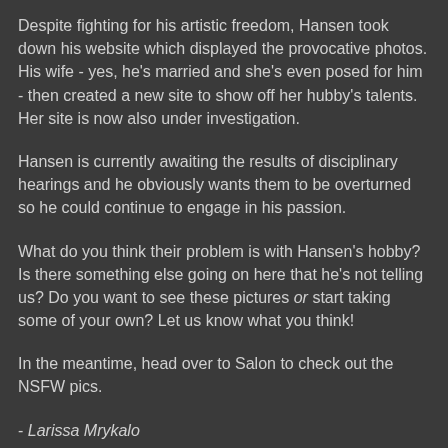Despite fighting for his artistic freedom, Hansen took down his website which displayed the provocative photos. His wife - yes, he's married and she's even posed for him - then created a new site to show off her hubby's talents. Her site is now also under investigation.
Hansen is currently awaiting the results of disciplinary hearings and he obviously wants them to be overturned so he could continue to engage in his passion.
What do you think their problem is with Hansen's hobby? Is there something else going on here that he's not telling us? Do you want to see these pictures or start taking some of your own? Let us know what you think!
In the meantime, head over to Salon to check out the NSFW pics.
- Larissa Mrykalo